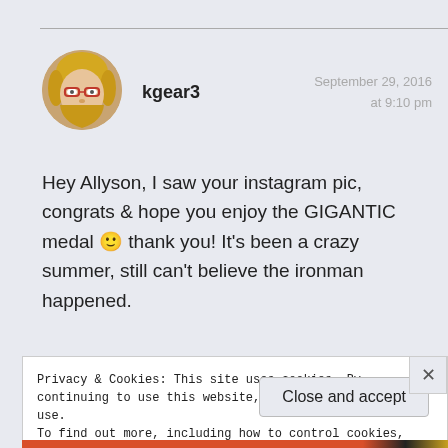[Figure (photo): Circular avatar photo of a young woman with blonde hair and red glasses, smiling]
kgear3
September 29, 2016
at 9:10 pm
Hey Allyson, I saw your instagram pic, congrats & hope you enjoy the GIGANTIC medal 🙂 thank you! It's been a crazy summer, still can't believe the ironman happened.
Privacy & Cookies: This site uses cookies. By continuing to use this website, you agree to their use.
To find out more, including how to control cookies, see here: Cookie Policy
Close and accept